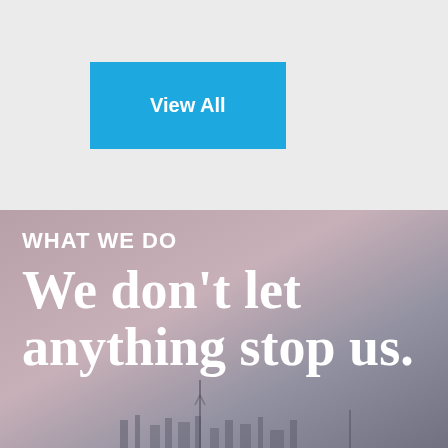[Figure (other): Blue 'View All' button on a light gray background]
[Figure (photo): Blurred cityscape background with muted purple-gray tones, overlaid with large white text reading 'WHAT WE DO' and 'We don't let anything stop us.']